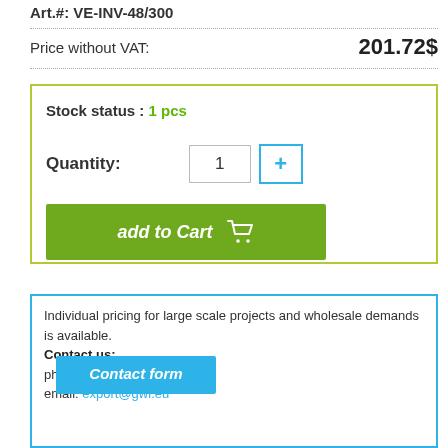Art.#: VE-INV-48/300
Price without VAT: 201.72$
Stock status : 1 pcs
Quantity: 1
add to Cart
Individual pricing for large scale projects and wholesale demands is available.
Contact us:
phone: +420 277 007 550
email: export@gwl.eu
Contact form